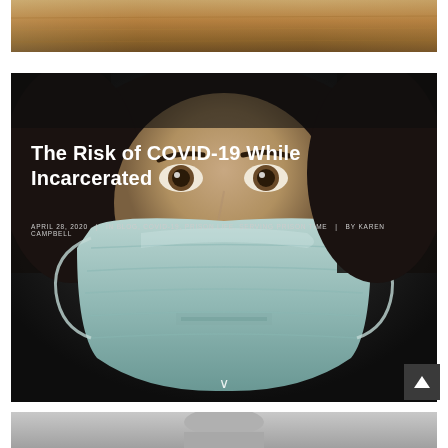[Figure (photo): Partial view of a wood-toned background or furniture, cropped at top of page]
[Figure (photo): Person wearing a surgical face mask looking directly at camera with wide eyes against dark background. Overlaid with article title and metadata.]
The Risk of COVID-19 While Incarcerated
APRIL 28, 2020  |  IN BLOG, COVID-19, PRISON LIFE, SERVING PRISON TIME  |  BY KAREN CAMPBELL
[Figure (photo): Partial view of another article thumbnail at bottom of page, appears to be a grayscale image]